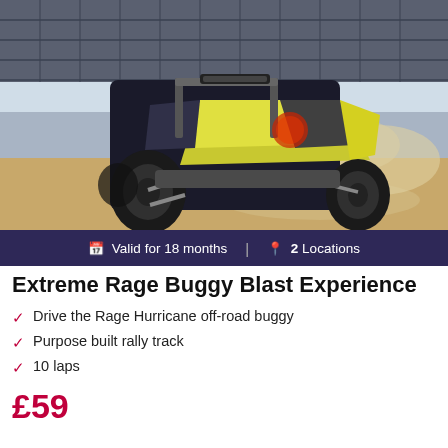[Figure (photo): A yellow and grey/black Rage Hurricane off-road buggy speeding on a dirt rally track, kicking up dust. Solar panels are visible in the background.]
Valid for 18 months  |  2 Locations
Extreme Rage Buggy Blast Experience
Drive the Rage Hurricane off-road buggy
Purpose built rally track
10 laps
£59